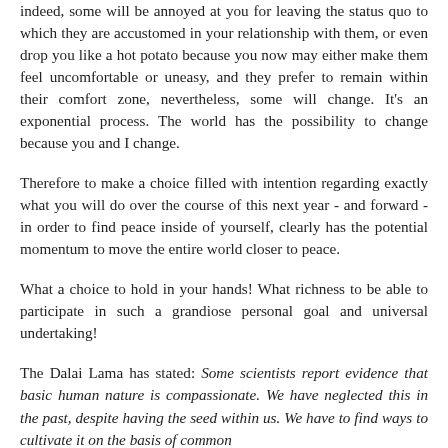indeed, some will be annoyed at you for leaving the status quo to which they are accustomed in your relationship with them, or even drop you like a hot potato because you now may either make them feel uncomfortable or uneasy, and they prefer to remain within their comfort zone, nevertheless, some will change. It's an exponential process. The world has the possibility to change because you and I change.
Therefore to make a choice filled with intention regarding exactly what you will do over the course of this next year - and forward - in order to find peace inside of yourself, clearly has the potential momentum to move the entire world closer to peace.
What a choice to hold in your hands! What richness to be able to participate in such a grandiose personal goal and universal undertaking!
The Dalai Lama has stated: Some scientists report evidence that basic human nature is compassionate. We have neglected this in the past, despite having the seed within us. We have to find ways to cultivate it on the basis of common